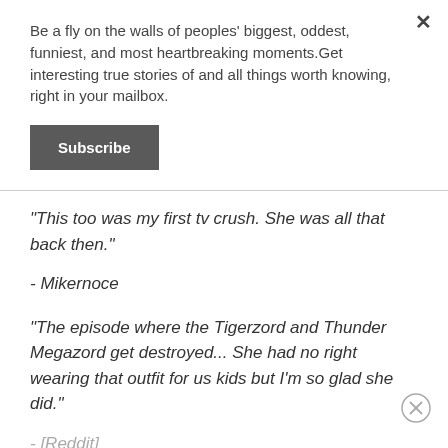Be a fly on the walls of peoples' biggest, oddest, funniest, and most heartbreaking moments.Get interesting true stories of and all things worth knowing, right in your mailbox.
Subscribe
"This too was my first tv crush. She was all that back then."
- Mikernoce
"The episode where the Tigerzord and Thunder Megazord get destroyed... She had no right wearing that outfit for us kids but I'm so glad she did."
- [Reddit]